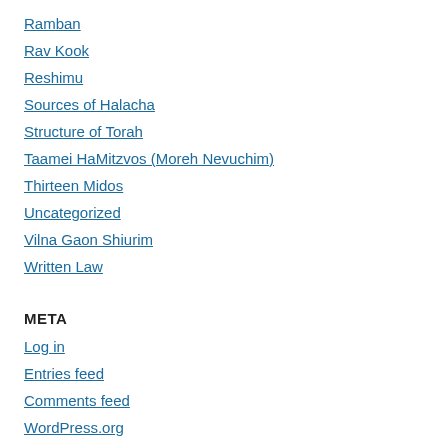Ramban
Rav Kook
Reshimu
Sources of Halacha
Structure of Torah
Taamei HaMitzvos (Moreh Nevuchim)
Thirteen Midos
Uncategorized
Vilna Gaon Shiurim
Written Law
META
Log in
Entries feed
Comments feed
WordPress.org